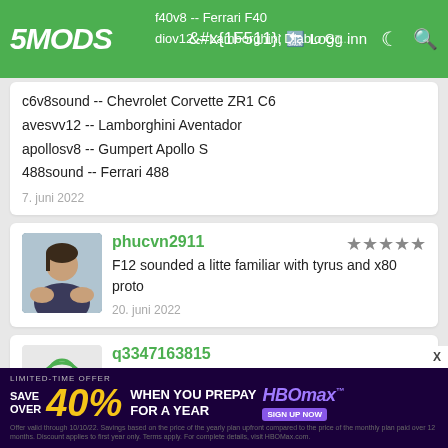5MODS — Logg inn
c6v8sound -- Chevrolet Corvette ZR1 C6
avesvv12 -- Lamborghini Aventador
apollosv8 -- Gumpert Apollo S
488sound -- Ferrari 488
7. juni 2022
phucvn2911
F12 sounded a litte familiar with tyrus and x80 proto
20. juni 2022
q3347163815
It's useless. It doesn't work
25. juni 2022
BIGHEAD
Amazing work, gg
[Figure (infographic): HBO Max advertisement banner: SAVE OVER 40% WHEN YOU PREPAY FOR A YEAR]